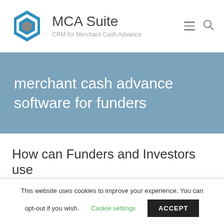MCA Suite — CRM for Merchant Cash Advance
merchant cash advance software for funders
How can Funders and Investors use
This website uses cookies to improve your experience. You can opt-out if you wish. Cookie settings ACCEPT